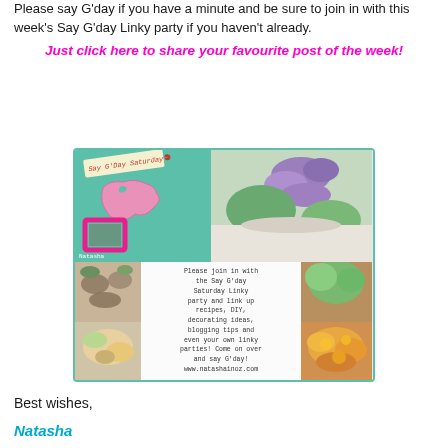Please say G'day if you have a minute and be sure to join in with this week's Say G'day Linky party if you haven't already.
Just click here to share your favourite post of the week!
[Figure (photo): Say G'Day Saturday collage image with teal border, showing: top-left teal background with 'Say G'Day Saturday' label, pink Australia map shape, pink photo frame, and 'Natasha' text; top-right photo of purple/green flowers; center white text overlay with 'Please join in with the Say G'day Saturday Linky party and link up recipes, DIY, decorating ideas, blogging tips and even your own linky parties! Come on over and say G'day! www.natashainoz.com'; bottom-left food photo; bottom-right orange/yellow food photo.]
Best wishes,
Natasha